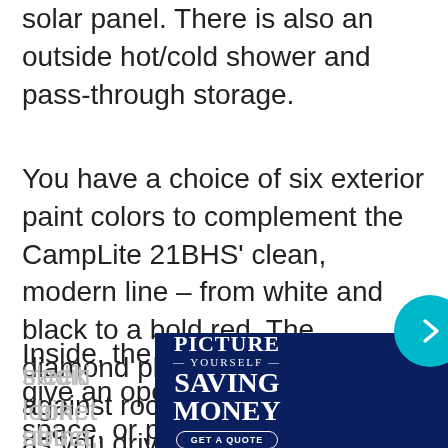solar panel. There is also an outside hot/cold shower and pass-through storage.
You have a choice of six exterior paint colors to complement the CampLite 21BHS’ clean, modern line – from white and black to a bold red. The diamond plate skirting guards against rocks and flying debris as you drive.
Inside, the light-colored cabinets give an open, airy feel to the space, or pick the more traditional darker cabinets for a sleek look, dark maple or espresso cabinet structure and plumbing,
[Figure (other): GEICO advertisement banner: 'Picture Yourself Saving Money - Get a Quote' with illustration of a truck towing an RV trailer, and GEICO logo with text 'FOR YOUR RV']